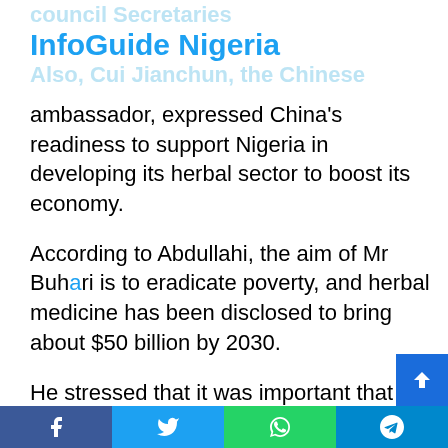council Secretaries
InfoGuide Nigeria
Also, Cui Jianchun, the Chinese
ambassador, expressed China's readiness to support Nigeria in developing its herbal sector to boost its economy.
According to Abdullahi, the aim of Mr Buhari is to eradicate poverty, and herbal medicine has been disclosed to bring about $50 billion by 2030.
He stressed that it was important that youths are sensitised on the